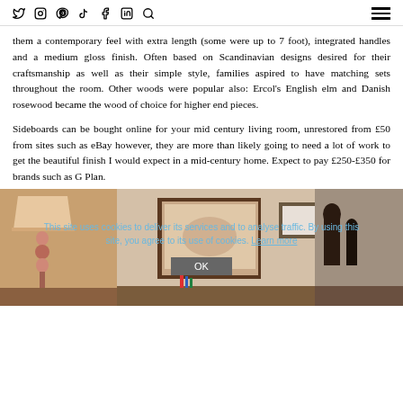Social media icons: Twitter, Instagram, Pinterest, TikTok, Facebook, LinkedIn, Search, Hamburger menu
them a contemporary feel with extra length (some were up to 7 foot), integrated handles and a medium gloss finish. Often based on Scandinavian designs desired for their craftsmanship as well as their simple style, families aspired to have matching sets throughout the room. Other woods were popular also: Ercol's English elm and Danish rosewood became the wood of choice for higher end pieces.
Sideboards can be bought online for your mid century living room, unrestored from £50 from sites such as eBay however, they are more than likely going to need a lot of work to get the beautiful finish I would expect in a mid-century home. Expect to pay £250-£350 for brands such as G Plan.
[Figure (photo): Interior room photo showing a mid-century modern living room with a lamp, framed artwork on walls, decorative sculptures, and sideboard with books. A cookie consent banner overlays the lower portion of the image.]